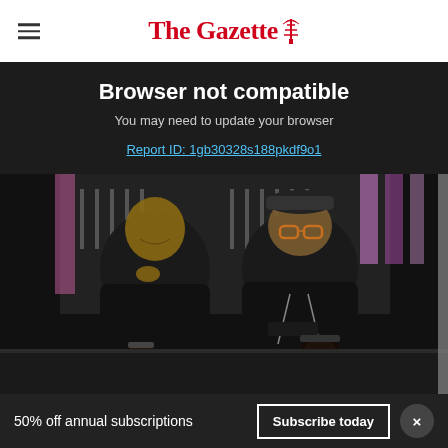The Gazette
Browser not compatible
You may need to update your browser
Report ID: 1gb30328s188pkdf9o1
[Figure (photo): Two smiling men in black hoodies sitting at a bar with beer taps in the background and drinks on the counter]
50% off annual subscriptions
Subscribe today